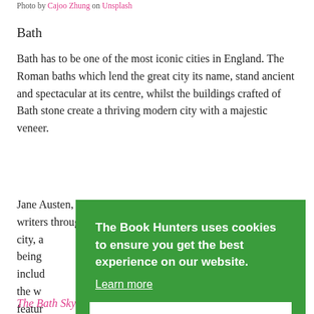Photo by Cajoo Zhung on Unsplash
Bath
Bath has to be one of the most iconic cities in England. The Roman baths which lend the great city its name, stand ancient and spectacular at its centre, whilst the buildings crafted of Bath stone create a thriving modern city with a majestic veneer.
Jane Austen, Mary Shelley, Charles Dickens and many more writers through the ages have pulled inspiration from the city, a city, a being include the w featu the ba
[Figure (screenshot): Cookie consent banner overlay with green background. Text reads: 'The Book Hunters uses cookies to ensure you get the best experience on our website. Learn more' and a 'Got it' button.]
The Bath Skyline Walk